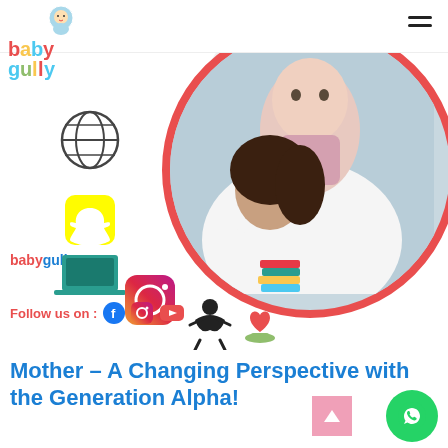[Figure (logo): Baby Gully logo with cartoon baby and colorful text 'baby gully']
[Figure (photo): Hero image of a mother holding a baby, inside a circle with red border, surrounded by social media and technology icons (globe, Snapchat, laptop, Instagram, meditation, books, heart)]
Follow us on : [Facebook] [Instagram] [YouTube]
Mother – A Changing Perspective with the Generation Alpha!